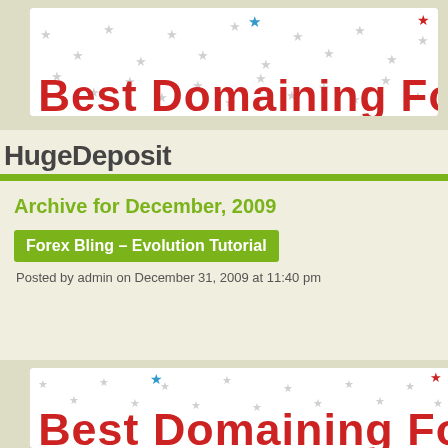[Figure (illustration): Best Domaining Forum banner with stars and bold red text on white background]
HugeDeposit
Archive for December, 2009
Forex Bling – Evolution Tutorial
Posted by admin on December 31, 2009 at 11:40 pm
[Figure (illustration): Best Domaining Forum banner with stars and bold red text on white background (bottom, partially visible)]